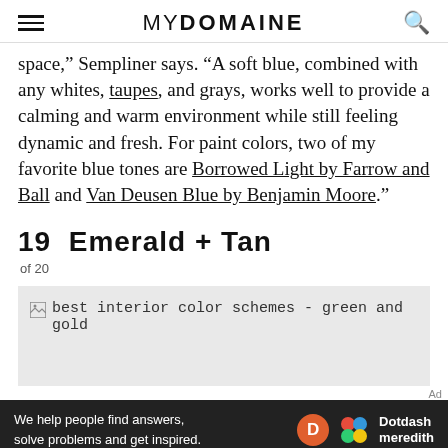MYDOMAINE
space," Sempliner says. "A soft blue, combined with any whites, taupes, and grays, works well to provide a calming and warm environment while still feeling dynamic and fresh. For paint colors, two of my favorite blue tones are Borrowed Light by Farrow and Ball and Van Deusen Blue by Benjamin Moore."
19  Emerald + Tan
of 20
[Figure (photo): Image placeholder showing alt text: best interior color schemes - green and gold]
Ad
We help people find answers, solve problems and get inspired. Dotdash meredith